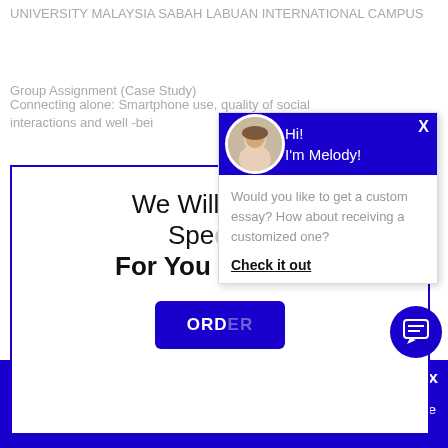UNIVERSITY MALAYSIA SABAH LABUAN INTERNATIONAL CAMPUS
Group Assignment (Case Study)
Connecting alone: Smartphone use, quality of social interactions and well -bei
[Figure (screenshot): Promotional box with text 'We Will Write a Specially For You For Only' and ORDER button in blue, overlaid by a chat popup with avatar of Melody saying 'Would you like to get a custom essay? How about receiving a customized one? Check it out']
Haven't Found The Essay You Want?
GET YOUR CUSTOM ESSAY
For Only $13.90/page